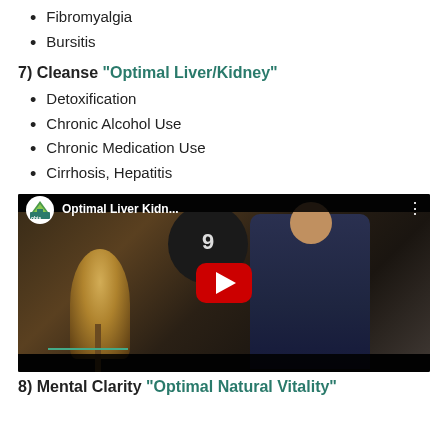Fibromyalgia
Bursitis
7) Cleanse "Optimal Liver/Kidney"
Detoxification
Chronic Alcohol Use
Chronic Medication Use
Cirrhosis, Hepatitis
[Figure (screenshot): YouTube video thumbnail showing a man in a dark polo shirt gesturing with hands, with text 'Optimal Liver Kidn...' and OHIS logo in top bar, red play button in center]
8) Mental Clarity "Optimal Natural Vitality"